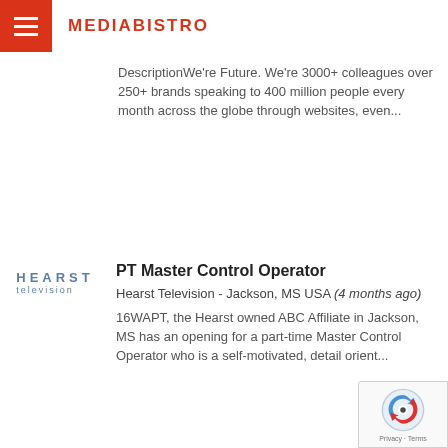MEDIABISTRO
DescriptionWe're Future. We're 3000+ colleagues over 250+ brands speaking to 400 million people every month across the globe through websites, even...
PT Master Control Operator
Hearst Television - Jackson, MS USA (4 months ago)
16WAPT, the Hearst owned ABC Affiliate in Jackson, MS has an opening for a part-time Master Control Operator who is a self-motivated, detail orient...
Production Assistant